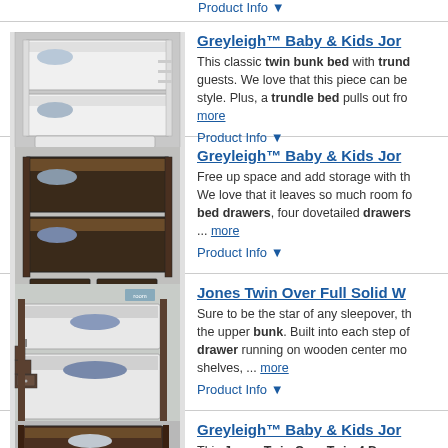Product Info ▼
Greyleigh™ Baby & Kids Jor
[Figure (photo): White twin bunk bed with trundle in a gray room]
This classic twin bunk bed with trundle bed guests. We love that this piece can be style. Plus, a trundle bed pulls out fro... more
Product Info ▼
Greyleigh™ Baby & Kids Jor
[Figure (photo): Dark espresso twin over full bunk bed with drawers]
Free up space and add storage with th We love that it leaves so much room fo bed drawers, four dovetailed drawers ... more
Product Info ▼
Jones Twin Over Full Solid W
[Figure (photo): Twin over full staircase bunk bed in gray room]
Sure to be the star of any sleepover, th the upper bunk. Built into each step of drawer running on wooden center mo shelves, ... more
Product Info ▼
Greyleigh™ Baby & Kids Jor
[Figure (photo): Dark staircase twin over twin bunk bed]
This Jones Twin Over Twin 4 Drawer Shelves of your kids' dreams that you' built into the stylish design, there will n again. Two ... more